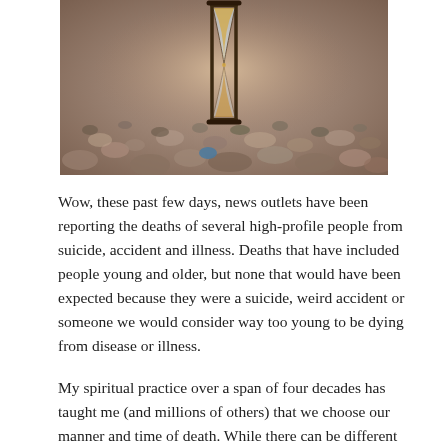[Figure (photo): Close-up photograph of an hourglass standing upright on a bed of small pebbles and rocks, with shallow depth of field blurring the background stones.]
Wow, these past few days, news outlets have been reporting the deaths of several high-profile people from suicide, accident and illness. Deaths that have included people young and older, but none that would have been expected because they were a suicide, weird accident or someone we would consider way too young to be dying from disease or illness.
My spiritual practice over a span of four decades has taught me (and millions of others) that we choose our manner and time of death. While there can be different exit points throughout our life, it is the final one we must respect as what any person chooses as the way and time that is right for them to end their physical existence on